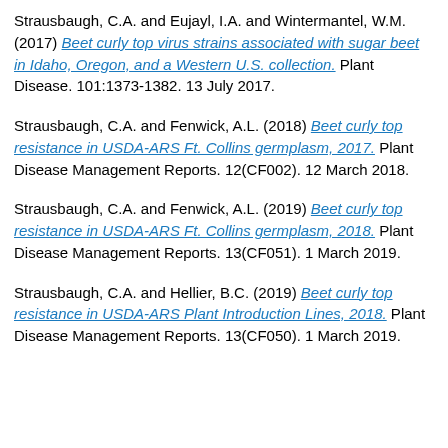Strausbaugh, C.A. and Eujayl, I.A. and Wintermantel, W.M. (2017) Beet curly top virus strains associated with sugar beet in Idaho, Oregon, and a Western U.S. collection. Plant Disease. 101:1373-1382. 13 July 2017.
Strausbaugh, C.A. and Fenwick, A.L. (2018) Beet curly top resistance in USDA-ARS Ft. Collins germplasm, 2017. Plant Disease Management Reports. 12(CF002). 12 March 2018.
Strausbaugh, C.A. and Fenwick, A.L. (2019) Beet curly top resistance in USDA-ARS Ft. Collins germplasm, 2018. Plant Disease Management Reports. 13(CF051). 1 March 2019.
Strausbaugh, C.A. and Hellier, B.C. (2019) Beet curly top resistance in USDA-ARS Plant Introduction Lines, 2018. Plant Disease Management Reports. 13(CF050). 1 March 2019.